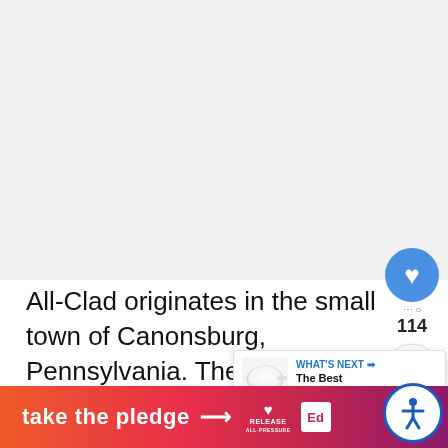[Figure (photo): Large image area at top of page, appears to be a light gray/blank image area taking up approximately the top 60% of the page]
All-Clad originates in the small town of Canonsburg, Pennsylvania. Their founder, John Ulam, while cooking at home, craft metal and make his own pots and pans
[Figure (infographic): Social overlay UI: blue heart button with count 114, share button with blue share icon on white circle]
[Figure (infographic): What's Next popup showing a ceramic pan image with label 'WHAT'S NEXT →' and text 'The Best Ceramic...']
[Figure (infographic): Bottom banner: orange-to-purple gradient with text 'take the pledge →', Release logo with heart, and Ed logo. Accessibility button (person icon) at bottom right.]